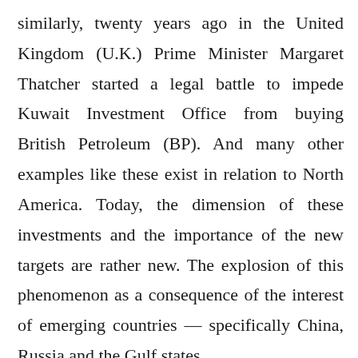similarly, twenty years ago in the United Kingdom (U.K.) Prime Minister Margaret Thatcher started a legal battle to impede Kuwait Investment Office from buying British Petroleum (BP). And many other examples like these exist in relation to North America. Today, the dimension of these investments and the importance of the new targets are rather new. The explosion of this phenomenon as a consequence of the interest of emerging countries — specifically China, Russia and the Gulf states